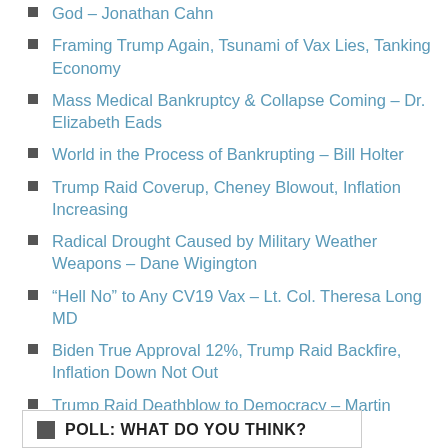God – Jonathan Cahn
Framing Trump Again, Tsunami of Vax Lies, Tanking Economy
Mass Medical Bankruptcy & Collapse Coming – Dr. Elizabeth Eads
World in the Process of Bankrupting – Bill Holter
Trump Raid Coverup, Cheney Blowout, Inflation Increasing
Radical Drought Caused by Military Weather Weapons – Dane Wigington
“Hell No” to Any CV19 Vax – Lt. Col. Theresa Long MD
Biden True Approval 12%, Trump Raid Backfire, Inflation Down Not Out
Trump Raid Deathblow to Democracy – Martin Armstrong
POLL: WHAT DO YOU THINK?